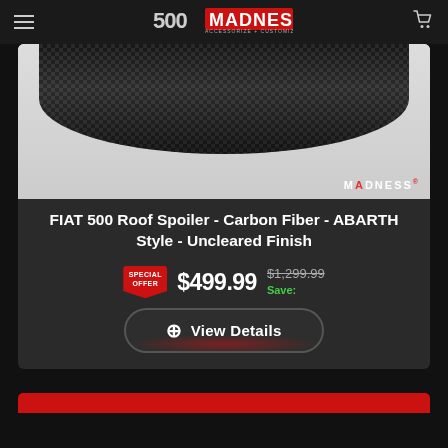500 MADNESS - ACCESSORIZE + CUSTOMIZE + PERSONALIZE
[Figure (photo): Carbon fiber FIAT 500 roof spoiler in ABARTH style with uncleared finish, shown from rear angle against white background. MADNESS watermark in bottom right.]
FIAT 500 Roof Spoiler - Carbon Fiber - ABARTH Style - Uncleared Finish
SPECIAL OFFER $499.99 $1,299.99 Save:
+ View Details